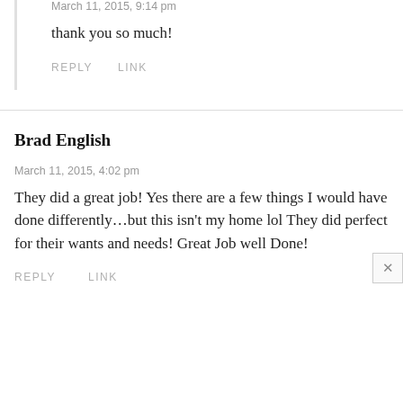March 11, 2015, 9:14 pm
thank you so much!
REPLY   LINK
Brad English
March 11, 2015, 4:02 pm
They did a great job! Yes there are a few things I would have done differently…but this isn't my home lol They did perfect for their wants and needs! Great Job well Done!
REPLY   LINK